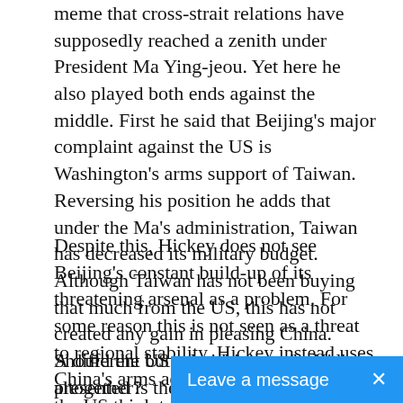meme that cross-strait relations have supposedly reached a zenith under President Ma Ying-jeou. Yet here he also played both ends against the middle. First he said that Beijing's major complaint against the US is Washington's arms support of Taiwan. Reversing his position he adds that under the Ma's administration, Taiwan has decreased its military budget. Although Taiwan has not been buying that much from the US, this has not created any gain in pleasing China. Should the US consider stopping sales altogether?
Despite this, Hickey does not see Beijing's constant build-up of its threatening arsenal as a problem. For some reason this is not seen as a threat to regional stability. Hickey instead uses China's arms advances to suggest that the US think twice about conflict.
A different but related innuendo Hickey presented is the falsehood and fear that the Democratic Progressive Party (DPP) seeks to entrap the US in a war. How so? Should not the question be wh
[Figure (other): Blue chat widget button at bottom right with text 'Leave a message' and an X close button]